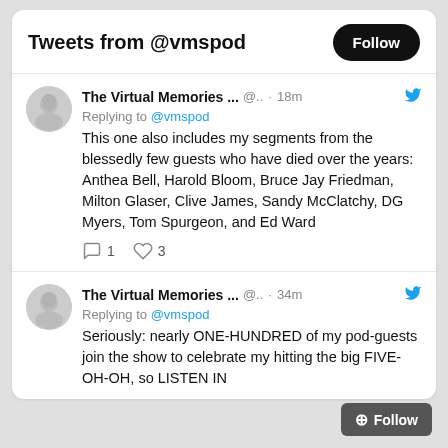Tweets from @vmspod
The Virtual Memories ... @.. · 18m
Replying to @vmspod
This one also includes my segments from the blessedly few guests who have died over the years: Anthea Bell, Harold Bloom, Bruce Jay Friedman, Milton Glaser, Clive James, Sandy McClatchy, DG Myers, Tom Spurgeon, and Ed Ward
Reply 1  Like 3
The Virtual Memories ... @.. · 34m
Replying to @vmspod
Seriously: nearly ONE-HUNDRED of my pod-guests join the show to celebrate my hitting the big FIVE-OH-OH, so LISTEN IN